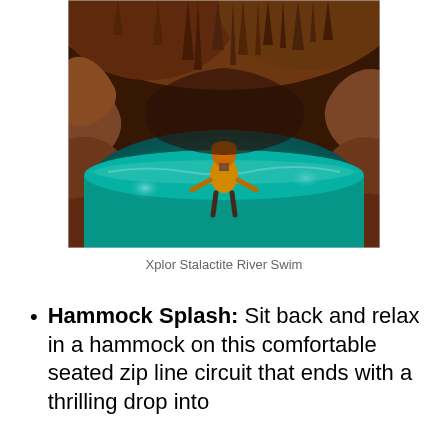[Figure (photo): A person wearing an orange helmet and yellow life vest wading in a glowing turquoise underground cenote cave pool, with stalactites hanging from the rocky ceiling above and warm amber-lit cave walls surrounding the scene.]
Xplor Stalactite River Swim
Hammock Splash: Sit back and relax in a hammock on this comfortable seated zip line circuit that ends with a thrilling drop into